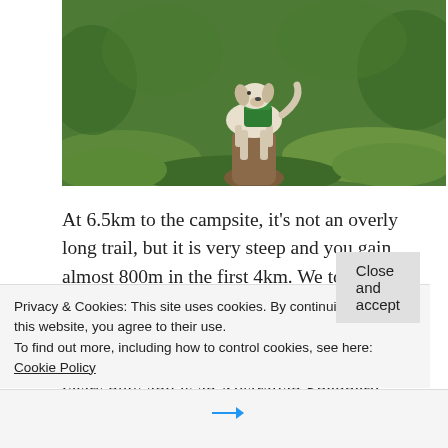[Figure (photo): A dog wearing a green backpack walking on a forest trail surrounded by green moss and vegetation]
At 6.5km to the campsite, it's not an overly long trail, but it is very steep and you gain almost 800m in the first 4km. We took our time going uphill and the dogs had a blast alternating between playing with one another and guiding us up the trail. Sadie is almost 2.5 years now and is an Australian Shepherd, which is a very high energy dog, so she had no problem with the hike and carries her
Privacy & Cookies: This site uses cookies. By continuing to use this website, you agree to their use.
To find out more, including how to control cookies, see here: Cookie Policy
Close and accept